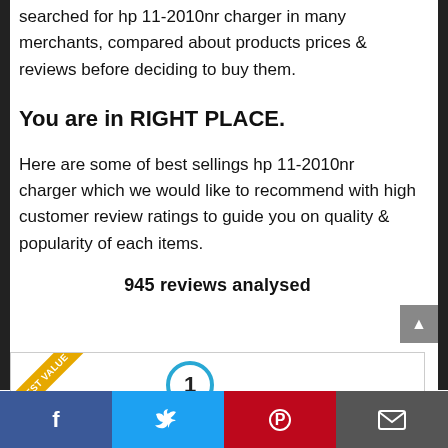searched for hp 11-2010nr charger in many merchants, compared about products prices & reviews before deciding to buy them.
You are in RIGHT PLACE.
Here are some of best sellings hp 11-2010nr charger which we would like to recommend with high customer review ratings to guide you on quality & popularity of each items.
945 reviews analysed
[Figure (infographic): Product card with BEST VALUE diagonal ribbon badge (gold/orange) in top-left corner, and a blue circle with number 1 in the center]
Facebook | Twitter | Pinterest | Email